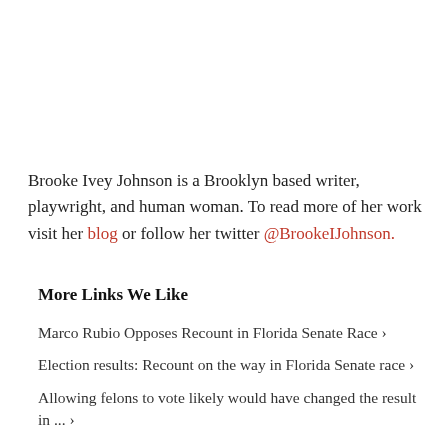Brooke Ivey Johnson is a Brooklyn based writer, playwright, and human woman. To read more of her work visit her blog or follow her twitter @BrookeIJohnson.
More Links We Like
Marco Rubio Opposes Recount in Florida Senate Race ›
Election results: Recount on the way in Florida Senate race ›
Allowing felons to vote likely would have changed the result in ... ›
Florida election results: Senate and governor races could go to ... ›